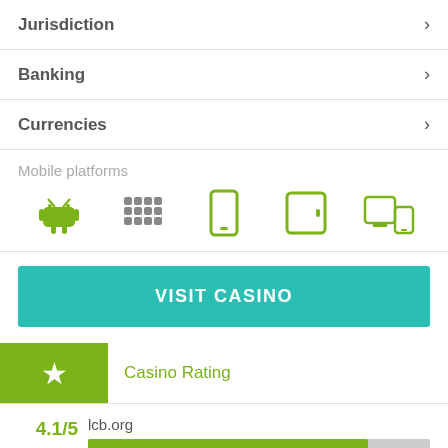Jurisdiction
Banking
Currencies
Mobile platforms
[Figure (other): Mobile platform icons: Android, BlackBerry, phone, tablet, multi-device]
VISIT CASINO
Casino Rating
4.1/5 lcb.org
3.5/5 freecasinogames.net